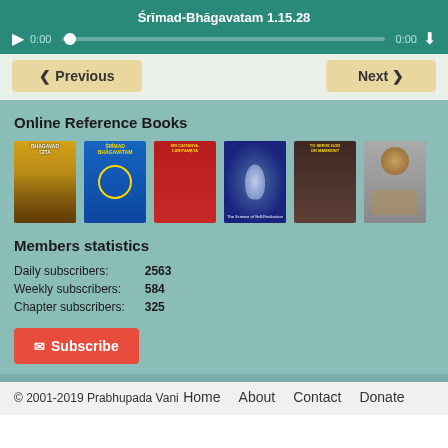Śrīmad-Bhāgavatam 1.15.28
0:00   0:00
‹ Previous    Next ›
Online Reference Books
[Figure (photo): Six book covers for Online Reference Books: Bhagavad Gita, Srimad-Bhagavatam, Sri Caitanya-Caritamrta, The Science of Self-Realization, Science of Identity/Coming to God, and Prabhupada portrait]
Members statistics
| Stat | Value |
| --- | --- |
| Daily subscribers: | 2563 |
| Weekly subscribers: | 584 |
| Chapter subscribers: | 325 |
✉ Subscribe
© 2001-2019 Prabhupada Vani
Home   About   Contact   Donate